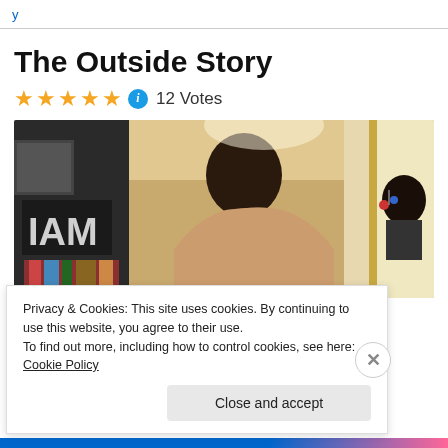The Outside Story
★★★★★ ℹ 12 Votes
[Figure (photo): A man in profile view inside an apartment hallway with a woman visible in the background, and a movie poster visible on the left wall.]
Privacy & Cookies: This site uses cookies. By continuing to use this website, you agree to their use.
To find out more, including how to control cookies, see here: Cookie Policy